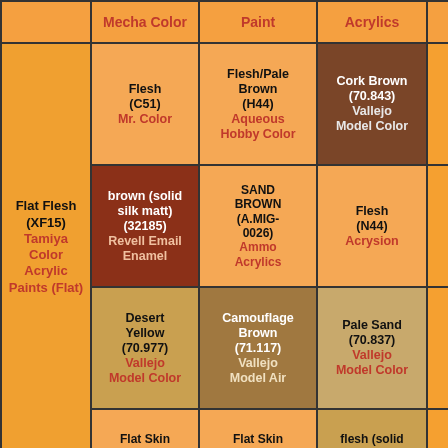| Tamiya Color Acrylic Paints (Flat) | Mecha Color / Revell Email Enamel / Vallejo Model Color | Aqueous Hobby Color / Ammo Acrylics / Vallejo Model Air | Vallejo Model Color / Acrysion / Vallejo Model Color | ... |
| --- | --- | --- | --- | --- |
| (header row) | Mecha Color | Paint | Acrylics |  |
| Flat Flesh (XF15) Tamiya Color Acrylic Paints (Flat) | Flesh (C51) Mr. Color | Flesh/Pale Brown (H44) Aqueous Hobby Color | Cork Brown (70.843) Vallejo Model Color |  |
|  | brown (solid silk matt) (32185) Revell Email Enamel | SAND BROWN (A.MIG-0026) Ammo Acrylics | Flesh (N44) Acrysion |  |
|  | Desert Yellow (70.977) Vallejo Model Color | Camouflage Brown (71.117) Vallejo Model Air | Pale Sand (70.837) Vallejo Model Color |  |
|  | Flat Skin | Flat Skin | flesh (solid |  |